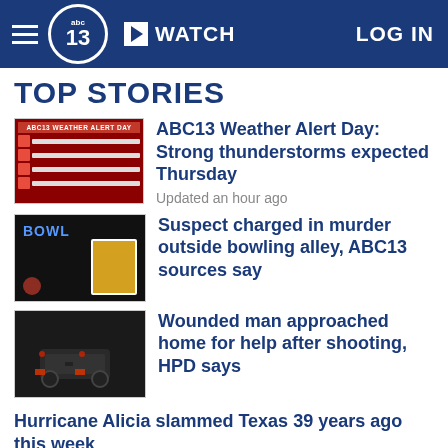abc13 WATCH LOG IN
TOP STORIES
[Figure (screenshot): Weather alert day graphic with red warning banners]
ABC13 Weather Alert Day: Strong thunderstorms expected Thursday
Updated an hour ago
[Figure (photo): Dark night scene showing bowling alley sign and suspect photo]
Suspect charged in murder outside bowling alley, ABC13 sources say
[Figure (photo): Night scene with car taillights on a dark street]
Wounded man approached home for help after shooting, HPD says
Hurricane Alicia slammed Texas 39 years ago this week
Updated 28 minutes ago
Woman feels lucky to be alive after armed man took off with her car